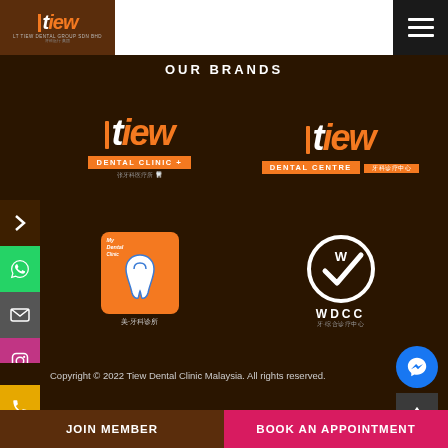[Figure (logo): Tiew Dental Group header logo on dark brown background]
[Figure (logo): Hamburger menu icon on black background]
OUR BRANDS
[Figure (logo): Tiew Dental Clinic logo - orange and white on dark background]
[Figure (logo): Tiew Dental Centre logo - orange and white on dark background]
[Figure (logo): MyDental Clinic logo - orange box with tooth image and Chinese characters]
[Figure (logo): WDCC logo - white circle with checkmark and text]
Copyright © 2022 Tiew Dental Clinic Malaysia. All rights reserved.
JOIN MEMBER | BOOK AN APPOINTMENT